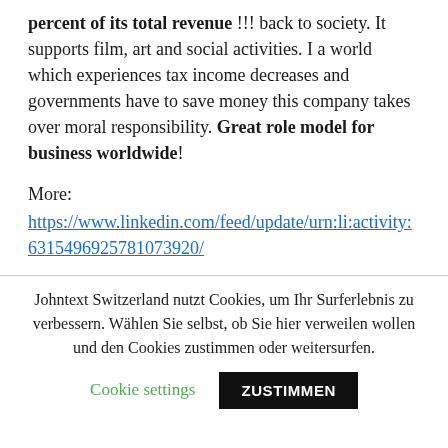percent of its total revenue !!! back to society. It supports film, art and social activities. I a world which experiences tax income decreases and governments have to save money this company takes over moral responsibility. Great role model for business worldwide!
More:
https://www.linkedin.com/feed/update/urn:li:activity:6315496925781073920/
Johntext Switzerland nutzt Cookies, um Ihr Surferlebnis zu verbessern. Wählen Sie selbst, ob Sie hier verweilen wollen und den Cookies zustimmen oder weitersurfen.
Cookie settings | ZUSTIMMEN